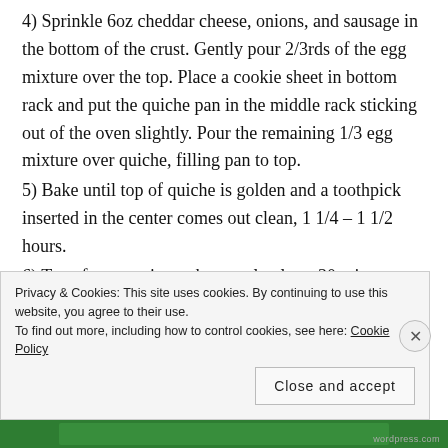4) Sprinkle 6oz cheddar cheese, onions, and sausage in the bottom of the crust. Gently pour 2/3rds of the egg mixture over the top. Place a cookie sheet in bottom rack and put the quiche pan in the middle rack sticking out of the oven slightly. Pour the remaining 1/3 egg mixture over quiche, filling pan to top.
5) Bake until top of quiche is golden and a toothpick inserted in the center comes out clean, 1 1/4 – 1 1/2 hours.
6) Transfer to a wire rack to cool at least 30 minutes.
Privacy & Cookies: This site uses cookies. By continuing to use this website, you agree to their use. To find out more, including how to control cookies, see here: Cookie Policy
Close and accept